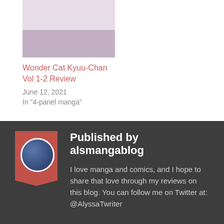[Figure (illustration): Manga-style comic panel showing characters in two scenes]
Wonder Cat Kyuu-Chan Vol 1-2 Review
June 12, 2021
In "4-panel manga"
[Figure (photo): Avatar/profile icon for alsmangablog shown in a bookmark-shaped red banner]
Published by alsmangablog
I love manga and comics, and I hope to share that love through my reviews on this blog. You can follow me on Twitter at: @AlyssaTwriter
View all posts by alsmangablog